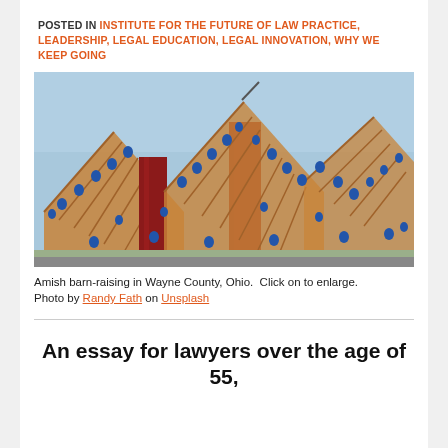POSTED IN INSTITUTE FOR THE FUTURE OF LAW PRACTICE, LEADERSHIP, LEGAL EDUCATION, LEGAL INNOVATION, WHY WE KEEP GOING
[Figure (photo): Amish barn-raising in Wayne County, Ohio. Many workers in blue shirts visible on the wooden frame structure under construction with red metal panels.]
Amish barn-raising in Wayne County, Ohio.  Click on to enlarge. Photo by Randy Fath on Unsplash
An essay for lawyers over the age of 55,